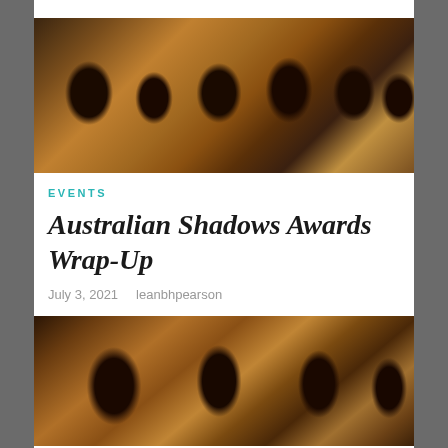[Figure (photo): Row of bronze/gold demon or horned figure trophy busts, close-up photograph showing multiple identical sculpted faces with horns in warm golden-brown tones]
EVENTS
Australian Shadows Awards Wrap-Up
July 3, 2021   leanbhpearson
[Figure (photo): Same row of bronze/gold demon or horned figure trophy busts, zoomed in closer showing the sculpted faces with horns in warm amber tones]